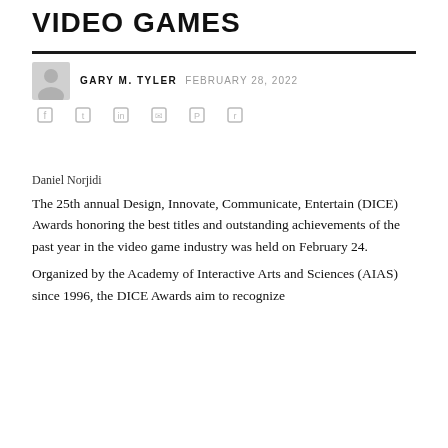VIDEO GAMES
GARY M. TYLER   FEBRUARY 28, 2022
Daniel Norjidi
The 25th annual Design, Innovate, Communicate, Entertain (DICE) Awards honoring the best titles and outstanding achievements of the past year in the video game industry was held on February 24.
Organized by the Academy of Interactive Arts and Sciences (AIAS) since 1996, the DICE Awards aim to recognize